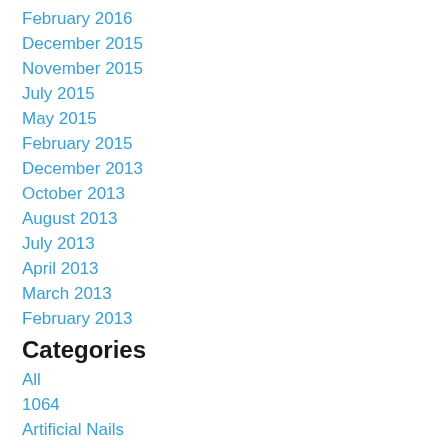February 2016
December 2015
November 2015
July 2015
May 2015
February 2015
December 2013
October 2013
August 2013
July 2013
April 2013
March 2013
February 2013
Categories
All
1064
Artificial Nails
Atherton
Athlete's Foot
Barefoot